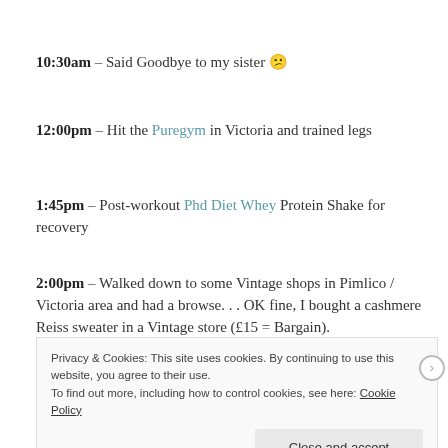10:30am – Said Goodbye to my sister 😕
12:00pm – Hit the Puregym in Victoria and trained legs
1:45pm – Post-workout Phd Diet Whey Protein Shake for recovery
2:00pm – Walked down to some Vintage shops in Pimlico / Victoria area and had a browse... OK fine, I bought a cashmere Reiss sweater in a Vintage store (£15 = Bargain).
Privacy & Cookies: This site uses cookies. By continuing to use this website, you agree to their use. To find out more, including how to control cookies, see here: Cookie Policy